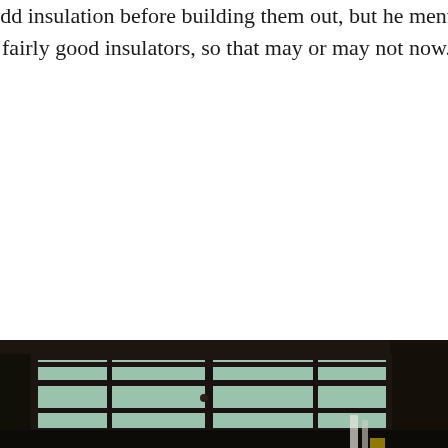The contractor thought that the best approach would be to add insulation before building them out, but he mentioned that it is likely that none of the walls have it. Logs are themselves fairly good insulators, so that may or may not now. That will definitely be a priority for the kitchen.
[Figure (photo): Interior construction photo showing a large multi-pane window installed in a dark wood-framed wall, with natural light and trees visible outside. Construction materials visible in the foreground.]